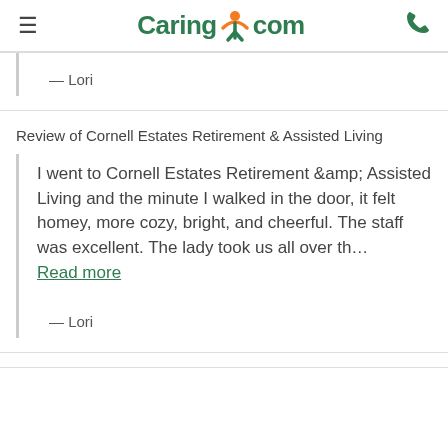Caring.com
— Lori
Review of Cornell Estates Retirement & Assisted Living
I went to Cornell Estates Retirement &amp; Assisted Living and the minute I walked in the door, it felt homey, more cozy, bright, and cheerful. The staff was excellent. The lady took us all over th… Read more
— Lori